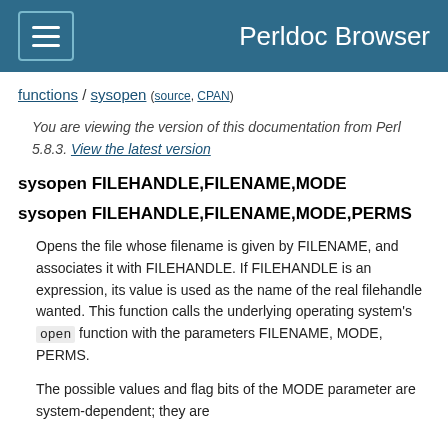Perldoc Browser
functions / sysopen (source, CPAN)
You are viewing the version of this documentation from Perl 5.8.3. View the latest version
sysopen FILEHANDLE,FILENAME,MODE
sysopen FILEHANDLE,FILENAME,MODE,PERMS
Opens the file whose filename is given by FILENAME, and associates it with FILEHANDLE. If FILEHANDLE is an expression, its value is used as the name of the real filehandle wanted. This function calls the underlying operating system's open function with the parameters FILENAME, MODE, PERMS.
The possible values and flag bits of the MODE parameter are system-dependent; they are